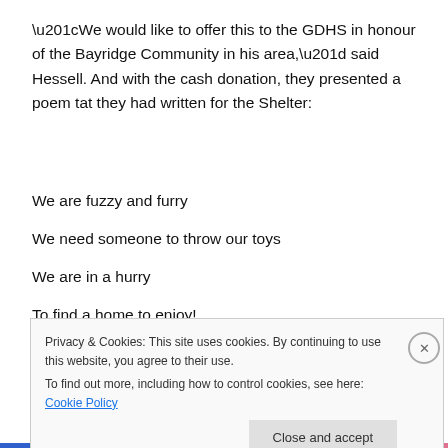“We would like to offer this to the GDHS in honour of the Bayridge Community in his area,” said Hessell. And with the cash donation, they presented a poem tat they had written for the Shelter:
We are fuzzy and furry
We need someone to throw our toys
We are in a hurry
To find a home to enjoy!
We love to cuddle
Privacy & Cookies: This site uses cookies. By continuing to use this website, you agree to their use.
To find out more, including how to control cookies, see here: Cookie Policy